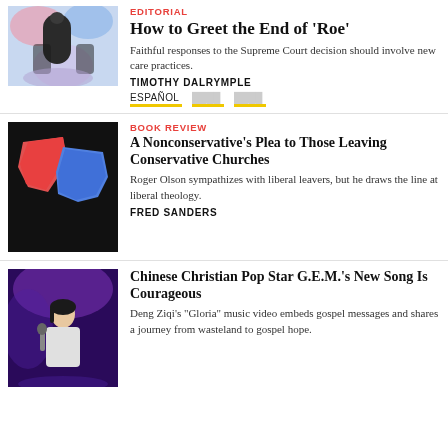[Figure (photo): Editorial article thumbnail showing people in colorful abstract setting]
EDITORIAL
How to Greet the End of ‘Roe’
Faithful responses to the Supreme Court decision should involve new care practices.
TIMOTHY DALRYMPLE
ESPAÑOL  [lang1]  [lang2]
[Figure (photo): Book review thumbnail showing red and blue torn paper shapes against black background]
BOOK REVIEW
A Nonconservative’s Plea to Those Leaving Conservative Churches
Roger Olson sympathizes with liberal leavers, but he draws the line at liberal theology.
FRED SANDERS
[Figure (photo): Singer performing on stage with microphone, purple stage lights in background]
Chinese Christian Pop Star G.E.M.’s New Song Is Courageous
Deng Ziqi’s “Gloria” music video embeds gospel messages and shares a journey from wasteland to gospel hope.